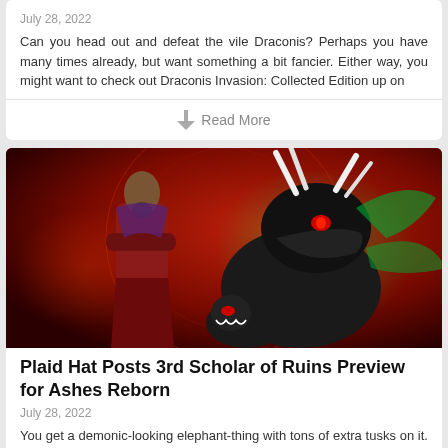July 28, 2022
Can you head out and defeat the vile Draconis? Perhaps you have many times already, but want something a bit fancier. Either way, you might want to check out Draconis Invasion: Collected Edition up on
Read More
[Figure (illustration): Fantasy game art showing a muscular warrior with arms crossed in red robes standing next to a large demonic dragon-like creature with horns and glowing green energy, on a dark red fiery background]
Plaid Hat Posts 3rd Scholar of Ruins Preview for Ashes Reborn
July 28, 2022
You get a demonic-looking elephant-thing with tons of extra tusks on it. I mean, do you really need to know more? Yes? Well... then head over through the link and check out some more of the cards comi